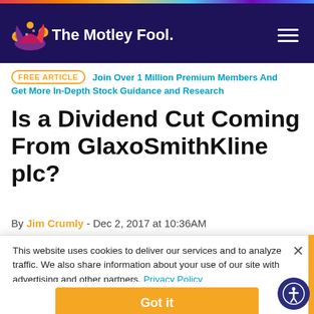The Motley Fool
FREE ARTICLE   Join Over 1 Million Premium Members And Get More In-Depth Stock Guidance and Research
Is a Dividend Cut Coming From GlaxoSmithKline plc?
By Jim Crumly - Dec 2, 2017 at 10:36AM
This website uses cookies to deliver our services and to analyze traffic. We also share information about your use of our site with advertising and other partners. Privacy Policy
Got it
Cookie Settings